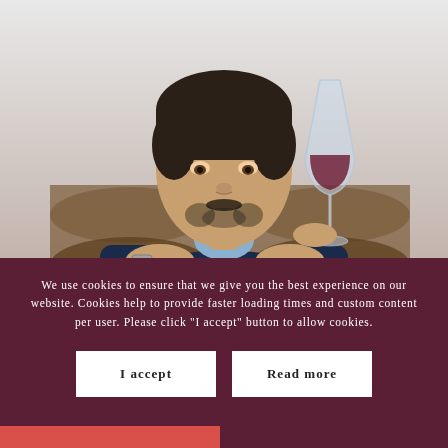[Figure (photo): A man with dark hair and a short beard holding a wine glass with red wine, leaning over wooden wine barrels in a cellar setting. He is wearing a dark navy sweater over a light blue shirt and has a watch on his wrist.]
We use cookies to ensure that we give you the best experience on our website. Cookies help to provide faster loading times and custom content per user. Please click "I accept" button to allow cookies.
I accept
Read more